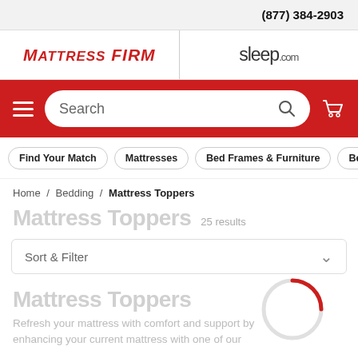(877) 384-2903
[Figure (logo): MattressFirm and sleep.com logos side by side]
[Figure (screenshot): Red navigation bar with hamburger menu, search box, and cart icon]
Find Your Match | Mattresses | Bed Frames & Furniture | Bedd...
Home / Bedding / Mattress Toppers
Mattress Toppers  25 results
Sort & Filter
Mattress Toppers
Refresh your mattress with comfort and support by enhancing your current mattress with one of our